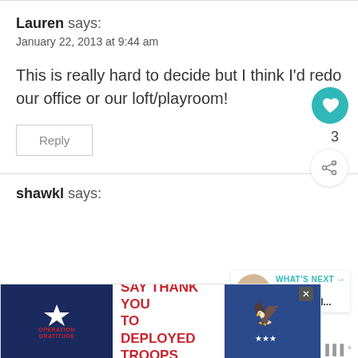Lauren says:
January 22, 2013 at 9:44 am
This is really hard to decide but I think I'd redo our office or our loft/playroom!
Reply
[Figure (infographic): Teal circular like/heart button with count 3, and a share button below]
[Figure (infographic): What's Next panel: thumbnail image and text 'Giveaway Guide - All...']
shawkl says:
[Figure (infographic): Operation Gratitude advertisement banner: SAY THANK YOU TO DEPLOYED TROOPS]